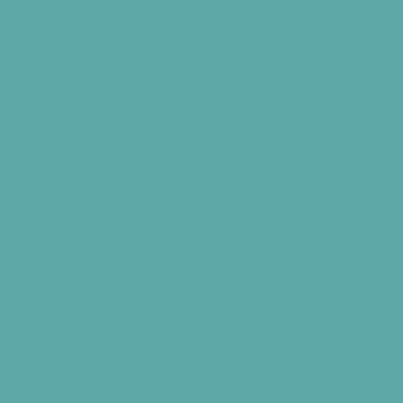[Figure (illustration): DaddleDo! blog logo with stick figure family characters above and below the text 'DaddleDo!' – top row has characters labeled Frank, Shannon, Trish, Connie; bottom row has characters labeled Ian, Brian, Dalles, Sammy]
Grab my Button
[Figure (logo): Redhead Mom blog button/badge showing a cartoon redhead woman reading a book with 'Redhead mom' text in red and teal]
<center><a href="http://redheadmom.com/" data-wpel-link="internal"><img src="https://d1403500...